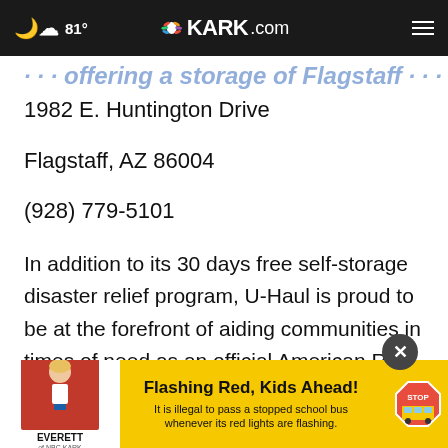81° KARK.com
...offering storage of Flagstaff...
1982 E. Huntington Drive
Flagstaff, AZ 86004
(928) 779-5101
In addition to its 30 days free self-storage disaster relief program, U-Haul is proud to be at the forefront of aiding communities in times of need as an official American Red Cross Disaster Resp...
[Figure (advertisement): Yellow banner advertisement for Everett NBC KARK with a person in red jacket. Text reads 'Flashing Red, Kids Ahead! It is illegal to pass a stopped school bus whenever its red lights are flashing.']